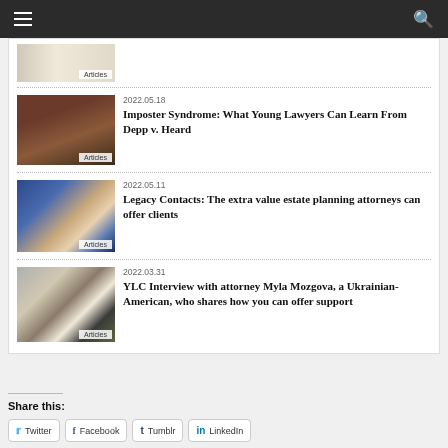[Figure (screenshot): Thumbnail image labeled Articles at bottom]
2022.05.18
Imposter Syndrome: What Young Lawyers Can Learn From Depp v. Heard
[Figure (photo): Laptop with digital faces on screen, labeled Articles]
2022.05.11
Legacy Contacts: The extra value estate planning attorneys can offer clients
[Figure (photo): Video interview with two people, labeled Articles]
2022.03.31
YLC Interview with attorney Myla Mozgova, a Ukrainian-American, who shares how you can offer support
Share this:
Twitter
Facebook
Tumblr
LinkedIn